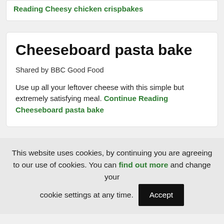Reading Cheesy chicken crispbakes
Cheeseboard pasta bake
Shared by BBC Good Food
Use up all your leftover cheese with this simple but extremely satisfying meal. Continue Reading Cheeseboard pasta bake
This website uses cookies, by continuing you are agreeing to our use of cookies. You can find out more and change your cookie settings at any time. Accept